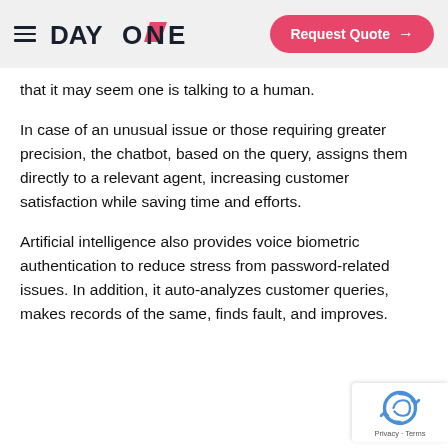DAY ONE — Request Quote →
that it may seem one is talking to a human.
In case of an unusual issue or those requiring greater precision, the chatbot, based on the query, assigns them directly to a relevant agent, increasing customer satisfaction while saving time and efforts.
Artificial intelligence also provides voice biometric authentication to reduce stress from password-related issues. In addition, it auto-analyzes customer queries, makes records of the same, finds fault, and improves.
[Figure (logo): reCAPTCHA badge with spinning arrows logo and Privacy - Terms text]